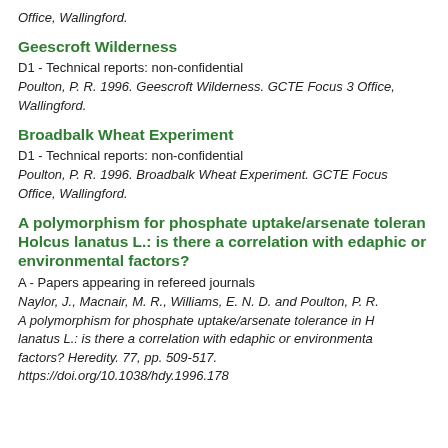Office, Wallingford.
Geescroft Wilderness
D1 - Technical reports: non-confidential
Poulton, P. R. 1996. Geescroft Wilderness. GCTE Focus 3 Office, Wallingford.
Broadbalk Wheat Experiment
D1 - Technical reports: non-confidential
Poulton, P. R. 1996. Broadbalk Wheat Experiment. GCTE Focus Office, Wallingford.
A polymorphism for phosphate uptake/arsenate tolerance in Holcus lanatus L.: is there a correlation with edaphic or environmental factors?
A - Papers appearing in refereed journals
Naylor, J., Macnair, M. R., Williams, E. N. D. and Poulton, P. R. A polymorphism for phosphate uptake/arsenate tolerance in Holcus lanatus L.: is there a correlation with edaphic or environmental factors? Heredity. 77, pp. 509-517.
https://doi.org/10.1038/hdy.1996.178